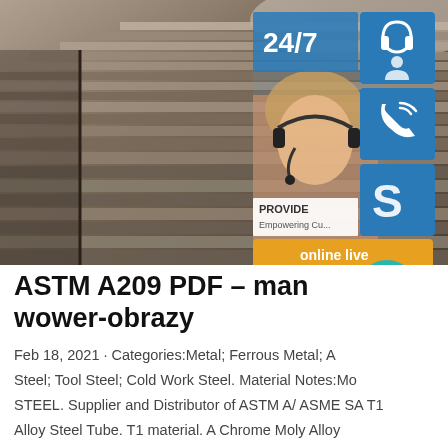[Figure (photo): Stack of steel plates/sheets photographed from the side, showing layered grey-brown metal surfaces. Overlaid on the right side is a customer service widget showing a woman with a headset, 24/7 text, blue icon tiles for support/phone/Skype, 'PROVIDE / Empowering Cu...' text, and an 'online live' button, plus a teal scroll-to-top arrow button.]
ASTM A209 PDF – man wower-obrazy
Feb 18, 2021 · Categories:Metal; Ferrous Metal; A Steel; Tool Steel; Cold Work Steel. Material Notes:Mo STEEL. Supplier and Distributor of ASTM A/ ASME SA T1 Alloy Steel Tube. T1 material. A Chrome Moly Alloy